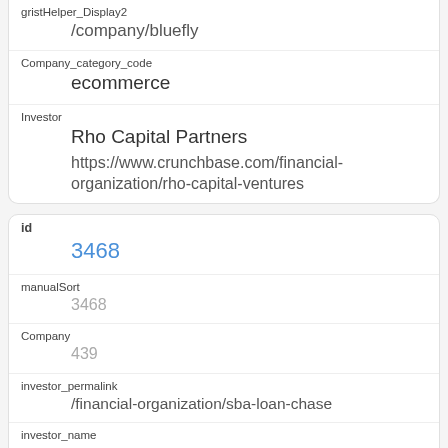gristHelper_Display2
/company/bluefly
Company_category_code
ecommerce
Investor
Rho Capital Partners
https://www.crunchbase.com/financial-organization/rho-capital-ventures
id
3468
manualSort
3468
Company
439
investor_permalink
/financial-organization/sba-loan-chase
investor_name
SBA Loan - Chase
investor_category_code